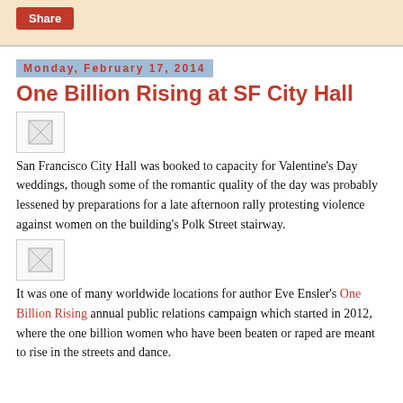Share
Monday, February 17, 2014
One Billion Rising at SF City Hall
[Figure (photo): Broken image placeholder (first image)]
San Francisco City Hall was booked to capacity for Valentine's Day weddings, though some of the romantic quality of the day was probably lessened by preparations for a late afternoon rally protesting violence against women on the building's Polk Street stairway.
[Figure (photo): Broken image placeholder (second image)]
It was one of many worldwide locations for author Eve Ensler's One Billion Rising annual public relations campaign which started in 2012, where the one billion women who have been beaten or raped are meant to rise in the streets and dance.